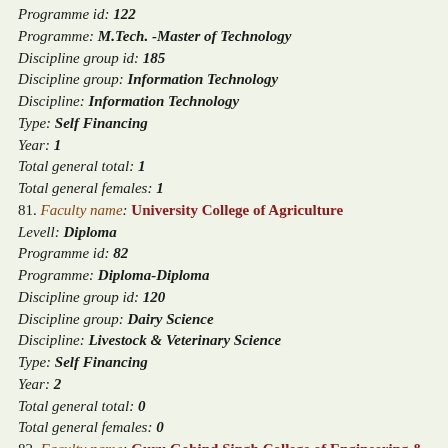Programme id: 122
Programme: M.Tech. -Master of Technology
Discipline group id: 185
Discipline group: Information Technology
Discipline: Information Technology
Type: Self Financing
Year: 1
Total general total: 1
Total general females: 1
81. Faculty name: University College of Agriculture
Levell: Diploma
Programme id: 82
Programme: Diploma-Diploma
Discipline group id: 120
Discipline group: Dairy Science
Discipline: Livestock & Veterinary Science
Type: Self Financing
Year: 2
Total general total: 0
Total general females: 0
82. Faculty name: Guru Gobind Singh College of Engineering & Technology
Levell: Under Graduate
Programme id: 36
Programme: B.Tech.-Bachelor of Technology
Discipline group id: 23